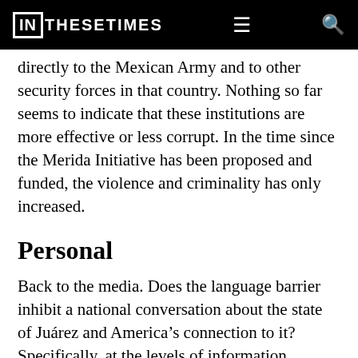IN THESE TIMES
directly to the Mexican Army and to other security forces in that country. Nothing so far seems to indicate that these institutions are more effective or less corrupt. In the time since the Merida Initiative has been proposed and funded, the violence and criminality has only increased.
Personal
Back to the media. Does the language barrier inhibit a national conversation about the state of Juárez and America's connection to it? Specifically, at the levels of information dissemination (especially on the Internet) and news reporting, does the language differ...